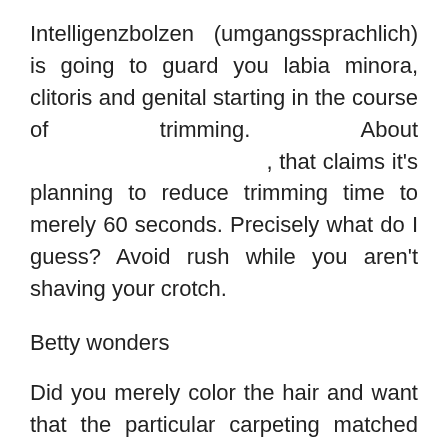Intelligenzbolzen (umgangssprachlich) is going to guard you labia minora, clitoris and genital starting in the course of trimming. About , that claims it's planning to reduce trimming time to merely 60 seconds. Precisely what do I guess? Avoid rush while you aren't shaving your crotch.
Betty wonders
Did you merely color the hair and want that the particular carpeting matched the particular curtains? Betty wonders may clear up of which trouble to suit your needs. Available in the durchmischung involving shades with each other together with blonde, darkish, blonde as well as a have a good laugh different shades, like